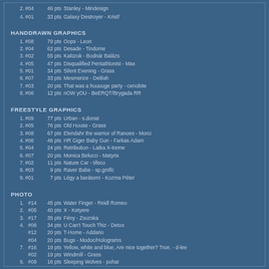2. #04  46 pts  Stanley - Mindesign
4. #01  33 pts  Galaxy Destroyer - Kristf
HANDDRAWN GRAPHICS
1. #08  79 pts  Oops - Leon
2. #04  62 pts  Desade - Tindome
3. #02  55 pts  Kalüzok - Bodnár Balázs
4. #05  47 pts  Disqualified Pentathlonist - Max
5. #01  34 pts  Silent Evening - Grass
6. #07  33 pts  Mesmerize - Delilah
7. #03  20 pts  That was a huuuuge party - cenobite
8. #06  12 pts  nOW yOU - BeERQT/Brygada RR
FREESTYLE GRAPHICS
1. #09  77 pts  Urban - s.donat
2. #05  76 pts  Old House - Grass
3. #08  67 pts  Elendahr the warrior of Ranoes - Morci
4. #06  46 pts  HR Giger Baby Gun - Farkas Adam
5. #04  24 pts  Retribution - Latka X-treme
6. #07  20 pts  Monica Belucci - Matyrix
7. #02  11 pts  Nature Car - tifeco
8. #03   9 pts  Raver Babe - sp.gmflc
9. #01   7 pts  Légy a barátom! - Kozma Péter
PHOTO
1.  #14  45 pts  Water Finger - Reidl Romeo
2.  #05  40 pts  X - Ketyere
3.  #17  35 pts  Fény - Zsuzska
4.  #06  34 pts  U Can't Touch Thiz - Detox
#12  20 pts  T-Home - Addario
#04  20 pts  Bugs - Modoc/Holograms
7.  #16  19 pts  Yellow, white and blue, Are nice together? True. - d-lee
#02  19 pts  Windmill - Grass
9.  #09  16 pts  Sleeping Wolves - pohar
10. #08  15 pts   Kakao On Top - Kata
11. #13  12 pts   Angyali Orjárat - Greg
12. #10   9 pts   Temple without a name - BeERQT/Brygada RR
13. #11   8 pts   Your time has come - ACE
#15  8 pts   Discarded - Spence
15. #03   5 pts   Celestial Company - sp.gmflc
16. #01   3 pts   Globemaster - Travis/Cybernetic Genetics
#07  3 pts   Bloomberry Twilight - Ivan "Ized" Zinkevich
4K PROCEDURAL GRAPHICS